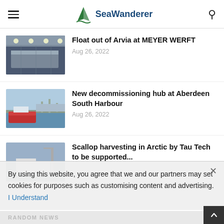Sea Wanderer
Float out of Arvia at MEYER WERFT
Aug 26, 2022
New decommissioning hub at Aberdeen South Harbour
Aug 26, 2022
Scallop harvesting in Arctic by Tau Tech to be supported...
By using this website, you agree that we and our partners may set cookies for purposes such as customising content and advertising. I Understand
RANDOM NEWS